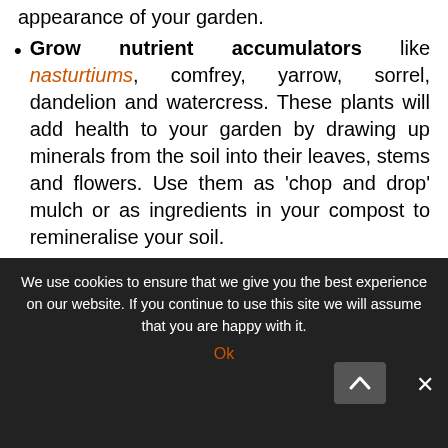appearance of your garden.
Grow nutrient accumulators like nasturtiums, comfrey, yarrow, sorrel, dandelion and watercress. These plants will add health to your garden by drawing up minerals from the soil into their leaves, stems and flowers. Use them as 'chop and drop' mulch or as ingredients in your compost to remineralise your soil.
[Figure (photo): Garden photo showing green plants and a raised bed with an inset image of white bell-shaped flowers. A Pinterest save button with count 13 is visible in the top right. A white arrow points down to the plants.]
We use cookies to ensure that we give you the best experience on our website. If you continue to use this site we will assume that you are happy with it.
Ok